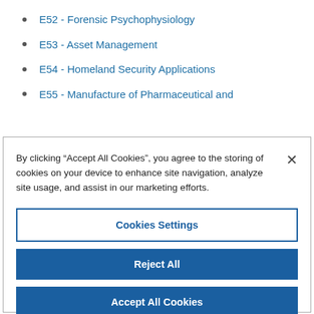E52 - Forensic Psychophysiology
E53 - Asset Management
E54 - Homeland Security Applications
E55 - Manufacture of Pharmaceutical and
By clicking “Accept All Cookies”, you agree to the storing of cookies on your device to enhance site navigation, analyze site usage, and assist in our marketing efforts.
Cookies Settings
Reject All
Accept All Cookies